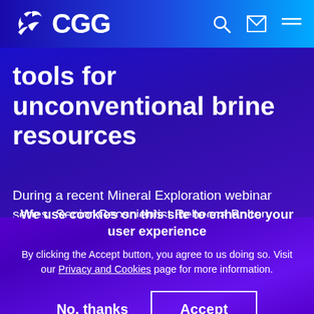CGG
tools for unconventional brine resources
During a recent Mineral Exploration webinar series, Senior Geoscientist Rebecca Bolton discussed geothermal commercial models and the benefits of potential extraction of numerous brine-hosted metals, as well as how CGG's suite of data tools and...
We use cookies on this site to enhance your user experience
By clicking the Accept button, you agree to us doing so. Visit our Privacy and Cookies page for more information.
No, thanks   Accept